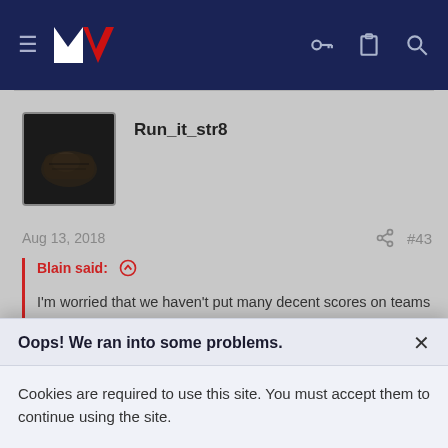Navigation header with hamburger menu, MV logo, key icon, clipboard icon, search icon
Run_it_str8
Aug 13, 2018  #43
Blain said: ↑

I'm worried that we haven't put many decent scores on teams this year, most our wins have been close or a couple tries in it. We just really need a good 30-40 point game to get the confidence up a bit, we still look a little rusty IMO. PD is also
Oops! We ran into some problems.
Cookies are required to use this site. You must accept them to continue using the site.